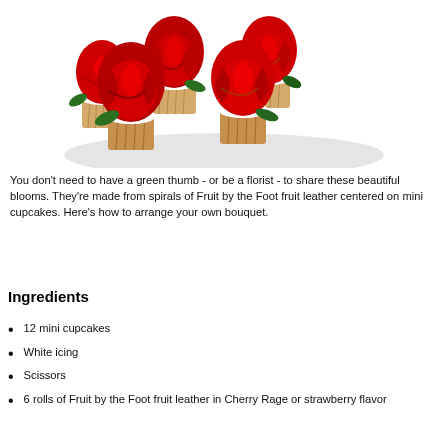[Figure (photo): Several cupcakes decorated with red rose-shaped fruit leather on top of striped cupcake liners, arranged in a bouquet-like cluster against a white background.]
You don't need to have a green thumb - or be a florist - to share these beautiful blooms. They're made from spirals of Fruit by the Foot fruit leather centered on mini cupcakes. Here's how to arrange your own bouquet.
Ingredients
12 mini cupcakes
White icing
Scissors
6 rolls of Fruit by the Foot fruit leather in Cherry Rage or strawberry flavor